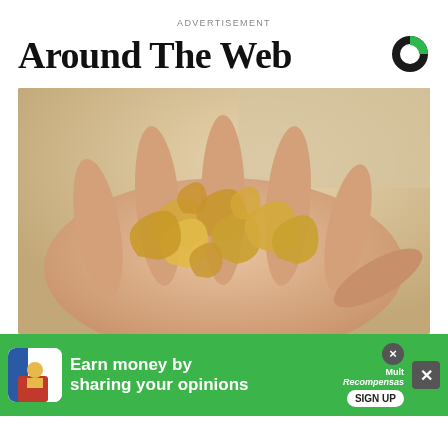ADVERTISEMENT
Around The Web
[Figure (photo): A hand holding a pile of cashew nuts, photographed from above against a light sandy background.]
[Figure (logo): Outbrain logo — a circular C shape in black and green.]
Earn money by sharing your opinions
SIGN UP